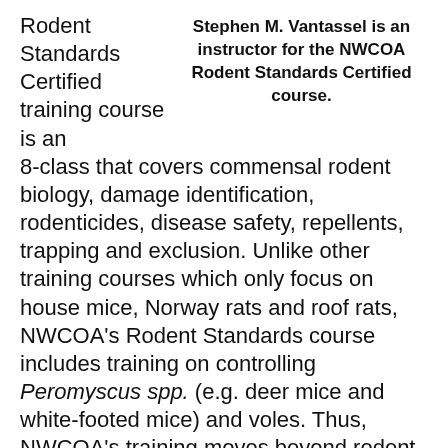Rodent Standards Certified training course is an 8-class that covers commensal rodent biology, damage identification, rodenticides, disease safety, repellents, trapping and exclusion. Unlike other training courses which only focus on house mice, Norway rats and roof rats, NWCOA's Rodent Standards course includes training on controlling Peromyscus spp. (e.g. deer mice and white-footed mice) and voles. Thus, NWCOA's training moves beyond rodent control in urban settings (though Peromyscus spp. occurs in more urban areas than people or pest control operators realize), into suburban and exurban areas.
Stephen M. Vantassel is an instructor for the NWCOA Rodent Standards Certified course.